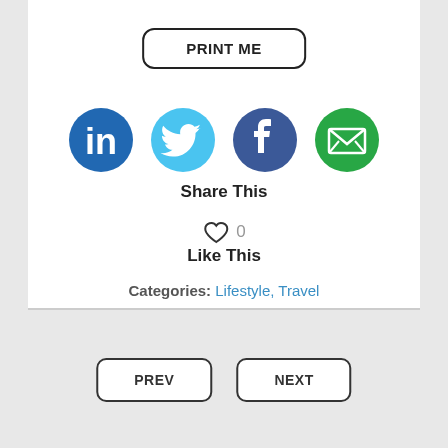PRINT ME
[Figure (illustration): Social media share icons: LinkedIn (blue circle with 'in'), Twitter (light blue circle with bird), Facebook (dark blue circle with 'f'), Email (green circle with envelope)]
Share This
♡ 0
Like This
Categories: Lifestyle, Travel
PREV
NEXT